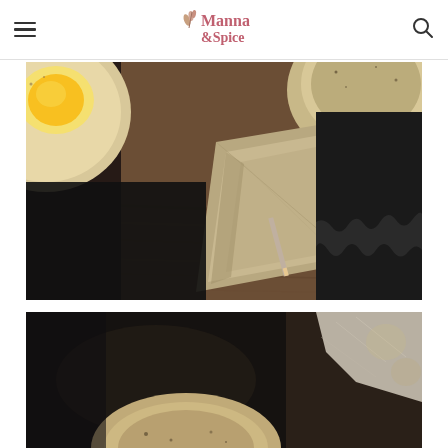Manna & Spice — navigation header with hamburger menu and search icon
[Figure (photo): Close-up food photography showing ceramic speckled bowls with yellow egg yolk and oatmeal/porridge on a rustic wooden surface, accompanied by folded tan linen napkins and a black fabric with ruffled edge]
[Figure (photo): Close-up food photography showing a ceramic speckled bowl with porridge/oatmeal on a dark surface with black fabric, slightly blurred background with white crinkled paper]